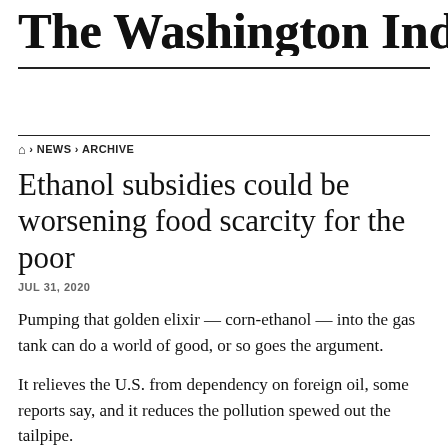The Washington Indeper
🏠 › NEWS › ARCHIVE
Ethanol subsidies could be worsening food scarcity for the poor
JUL 31, 2020
Pumping that golden elixir — corn-ethanol — into the gas tank can do a world of good, or so goes the argument.
It relieves the U.S. from dependency on foreign oil, some reports say, and it reduces the pollution spewed out the tailpipe.